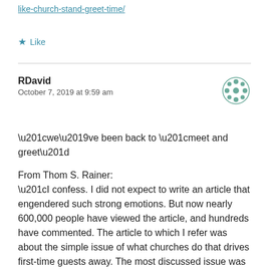like-church-stand-greet-time/
Like
RDavid
October 7, 2019 at 9:59 am
“we’ve been back to “meet and greet”
From Thom S. Rainer:
“I confess. I did not expect to write an article that engendered such strong emotions. But now nearly 600,000 people have viewed the article, and hundreds have commented. The article to which I refer was about the simple issue of what churches do that drives first-time guests away. The most discussed issue was that